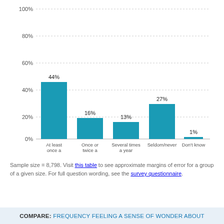[Figure (bar-chart): ]
Sample size = 8,798. Visit this table to see approximate margins of error for a group of a given size. For full question wording, see the survey questionnaire.
COMPARE: FREQUENCY FEELING A SENSE OF WONDER ABOUT